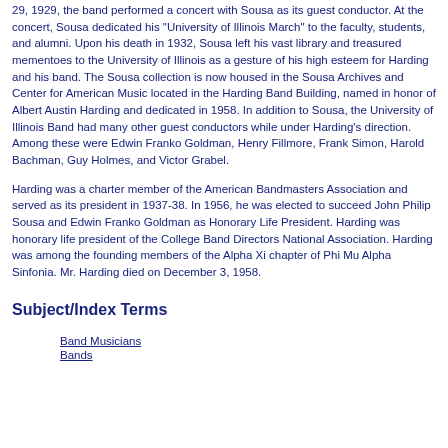29, 1929, the band performed a concert with Sousa as its guest conductor. At the concert, Sousa dedicated his "University of Illinois March" to the faculty, students, and alumni. Upon his death in 1932, Sousa left his vast library and treasured mementoes to the University of Illinois as a gesture of his high esteem for Harding and his band. The Sousa collection is now housed in the Sousa Archives and Center for American Music located in the Harding Band Building, named in honor of Albert Austin Harding and dedicated in 1958. In addition to Sousa, the University of Illinois Band had many other guest conductors while under Harding's direction. Among these were Edwin Franko Goldman, Henry Fillmore, Frank Simon, Harold Bachman, Guy Holmes, and Victor Grabel.
Harding was a charter member of the American Bandmasters Association and served as its president in 1937-38. In 1956, he was elected to succeed John Philip Sousa and Edwin Franko Goldman as Honorary Life President. Harding was honorary life president of the College Band Directors National Association. Harding was among the founding members of the Alpha Xi chapter of Phi Mu Alpha Sinfonia. Mr. Harding died on December 3, 1958.
Subject/Index Terms
Band Musicians
Bands